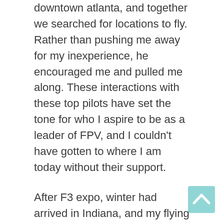downtown atlanta, and together we searched for locations to fly. Rather than pushing me away for my inexperience, he encouraged me and pulled me along. These interactions with these top pilots have set the tone for who I aspire to be as a leader of FPV, and I couldn't have gotten to where I am today without their support.
After F3 expo, winter had arrived in Indiana, and my flying greatly slowed down in the ensuing months. However, while I was not flying, I was spending time doing more content creation. I was creating regular vlog episodes, tutorial videos, and I started a livestream. The livestream, while at the beginning was a fairly minor event, became one of the greatest sources of growth early in the creation of my YouTube channel. It gave me an opportunity to “give back” by creating hours and hours of build videos by explaining how to build drones 100% of the way through. Users could join the streams,